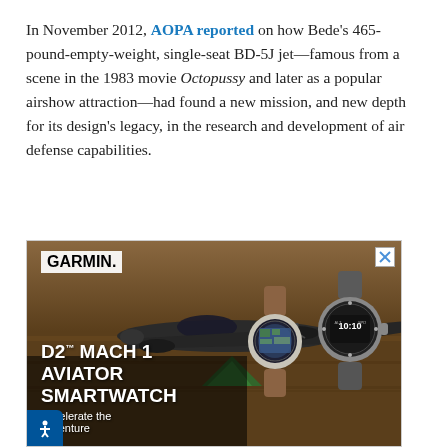In November 2012, AOPA reported on how Bede's 465-pound-empty-weight, single-seat BD-5J jet—famous from a scene in the 1983 movie Octopussy and later as a popular airshow attraction—had found a new mission, and new depth for its design's legacy, in the research and development of air defense capabilities.
[Figure (photo): Garmin advertisement featuring a dark aircraft on a remote dirt field with a green tent nearby, promoting the D2 Mach 1 Aviator Smartwatch. Two Garmin smartwatches shown in foreground.]